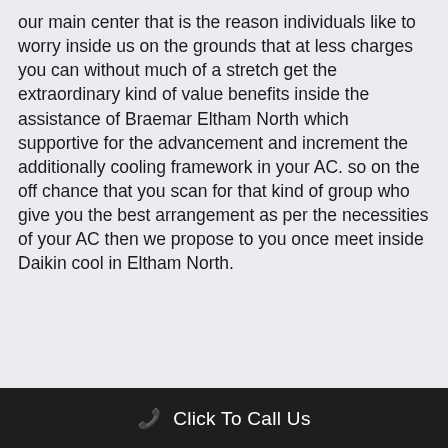our main center that is the reason individuals like to worry inside us on the grounds that at less charges you can without much of a stretch get the extraordinary kind of value benefits inside the assistance of Braemar Eltham North which supportive for the advancement and increment the additionally cooling framework in your AC. so on the off chance that you scan for that kind of group who give you the best arrangement as per the necessities of your AC then we propose to you once meet inside Daikin cool in Eltham North.
Click To Call Us